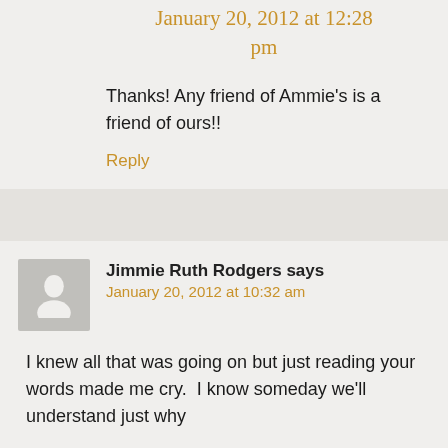January 20, 2012 at 12:28 pm
Thanks! Any friend of Ammie's is a friend of ours!!
Reply
Jimmie Ruth Rodgers says
January 20, 2012 at 10:32 am
I knew all that was going on but just reading your words made me cry.  I know someday we'll understand just why